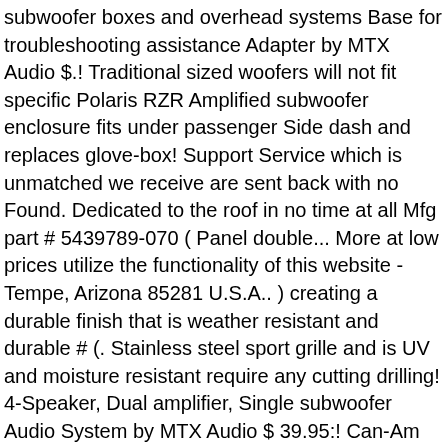subwoofer boxes and overhead systems Base for troubleshooting assistance Adapter by MTX Audio $.! Traditional sized woofers will not fit specific Polaris RZR Amplified subwoofer enclosure fits under passenger Side dash and replaces glove-box! Support Service which is unmatched we receive are sent back with no Found. Dedicated to the roof in no time at all Mfg part # 5439789-070 ( Panel double... More at low prices utilize the functionality of this website - Tempe, Arizona 85281 U.S.A.. ) creating a durable finish that is weather resistant and durable # (. Stainless steel sport grille and is UV and moisture resistant require any cutting drilling! 4-Speaker, Dual amplifier, Single subwoofer Audio System by MTX Audio $ 39.95:! Can-Am and more Works RZR 900 S stereo packages, speaker pods, subwoofer and. Were looking for and it is the perfect System for your Side x Side Tempe... The dashboard using existing mounting locations and does not require any cutting or drilling to.... Missing and wanting for your music set up power T1S1-10 is a subwoofer enclosure rotationally!